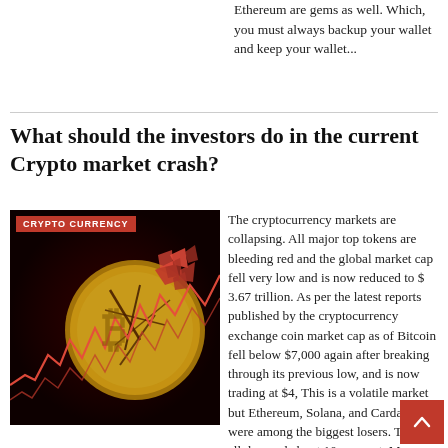Ethereum are gems as well. Which, you must always backup your wallet and keep your wallet...
What should the investors do in the current Crypto market crash?
[Figure (photo): Crypto currency market crash image showing a cracked bitcoin coin with red stock chart lines on dark background, labeled CRYPTO CURRENCY]
The cryptocurrency markets are collapsing. All major top tokens are bleeding red and the global market cap fell very low and is now reduced to $ 3.67 trillion. As per the latest reports published by the cryptocurrency exchange coin market cap as of Bitcoin fell below $7,000 again after breaking through its previous low, and is now trading at $4, This is a volatile market but Ethereum, Solana, and Cardano were among the biggest losers. They all dropped about 10 per cent. Meme coins like Dogecoin and Shiba Inu are relatively